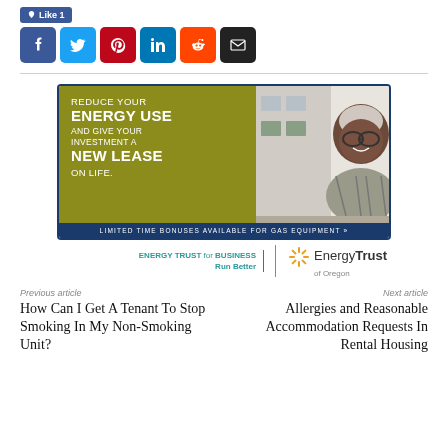[Figure (other): Social media share buttons row: Facebook (blue), Twitter (light blue), Pinterest (red), LinkedIn (blue), Reddit (orange), Email (black)]
[Figure (infographic): Energy Trust of Oregon advertisement banner: olive/dark yellow left panel with white text 'REDUCE YOUR ENERGY USE AND GIVE YOUR INVESTMENT A NEW LEASE ON LIFE.' with photo of smiling woman on right, dark blue bottom bar reading 'LIMITED TIME BONUSES AVAILABLE FOR GAS EQUIPMENT »']
[Figure (logo): Energy Trust for Business logo: 'ENERGY TRUST for BUSINESS / Run Better' text in teal on left, vertical divider, 'EnergyTrust of Oregon' with sunburst icon on right]
Previous article
Next article
How Can I Get A Tenant To Stop Smoking In My Non-Smoking Unit?
Allergies and Reasonable Accommodation Requests In Rental Housing